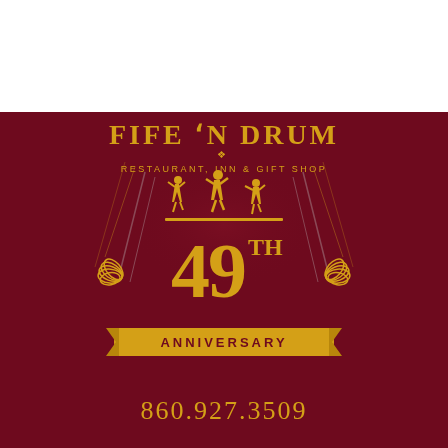[Figure (logo): Fife 'N Drum Restaurant, Inn & Gift Shop 49th Anniversary logo on dark maroon background. Gold text with dancing silhouette figures, laurel wreaths, streamers, and a gold ribbon banner reading ANNIVERSARY.]
860.927.3509